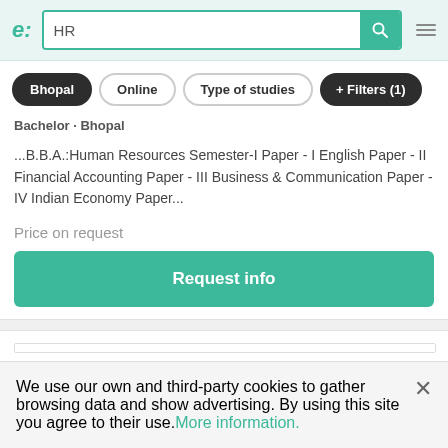e: HR [search]
Bhopal
Online
Type of studies
+ Filters (1)
Bachelor · Bhopal
...B.B.A.:Human Resources Semester-I Paper - I English Paper - II Financial Accounting Paper - III Business & Communication Paper - IV Indian Economy Paper...
Price on request
Request info
We use our own and third-party cookies to gather browsing data and show advertising. By using this site you agree to their use. More information.